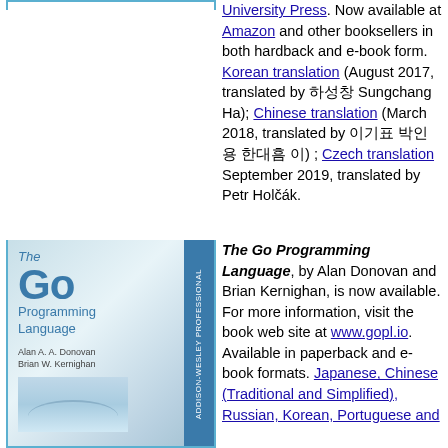University Press. Now available at Amazon and other booksellers in both hardback and e-book form. Korean translation (August 2017, translated by 하성창 Sungchang Ha); Chinese translation (March 2018, translated by 이기표 박인용 한대흠 이) ; Czech translation September 2019, translated by Petr Holčák.
[Figure (illustration): Book cover of 'The Go Programming Language' by Alan A. A. Donovan and Brian W. Kernighan, showing the title with a large 'Go' in blue text, a bridge photograph, and an Addison-Wesley Professional spine.]
The Go Programming Language, by Alan Donovan and Brian Kernighan, is now available. For more information, visit the book web site at www.gopl.io. Available in paperback and e-book formats. Japanese, Chinese (Traditional and Simplified), Russian, Korean, Portuguese and